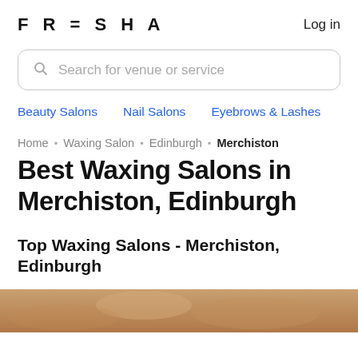FRESHA
Log in
[Figure (screenshot): Search bar with placeholder text 'Search for venue or service' and a magnifying glass icon]
Beauty Salons
Nail Salons
Eyebrows & Lashes
Home • Waxing Salon • Edinburgh • Merchiston
Best Waxing Salons in Merchiston, Edinburgh
Top Waxing Salons - Merchiston, Edinburgh
[Figure (photo): Partial image of a waxing salon treatment at the bottom of the page]